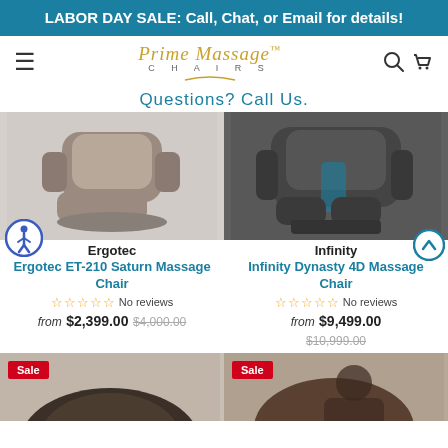LABOR DAY SALE: Call, Chat, or Email for details!
[Figure (logo): Prime Massage Chairs logo with hamburger menu, search and cart icons]
Questions? Call Us.
[Figure (photo): Ergotec ET-210 Saturn Massage Chair product photo - gray/brown massage chair]
Ergotec
Ergotec ET-210 Saturn Massage Chair
No reviews
from $2,399.00 $4,000.00
[Figure (photo): Infinity Dynasty 4D Massage Chair product photo - dark/black massage chair]
Infinity
Infinity Dynasty 4D Massage Chair
No reviews
from $9,499.00 $10,999.00
[Figure (photo): Sale product - massage chair, partially visible at bottom left]
[Figure (photo): Sale product - massage chair with person, partially visible at bottom right]